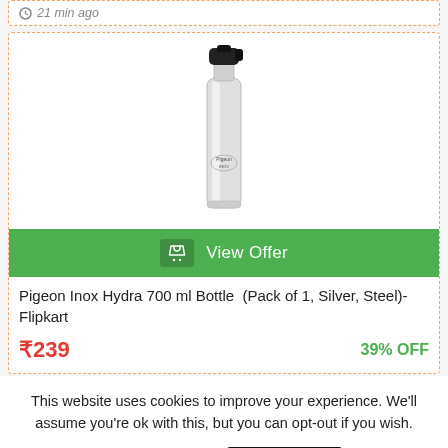21 min ago
[Figure (photo): Pigeon Inox Hydra 700 ml stainless steel water bottle with black flip cap, silver cylindrical body with brand logo]
View Offer
Pigeon Inox Hydra 700 ml Bottle  (Pack of 1, Silver, Steel)- Flipkart
₹239   39% OFF
This website uses cookies to improve your experience. We'll assume you're ok with this, but you can opt-out if you wish.
Cookie settings   ACCEPT